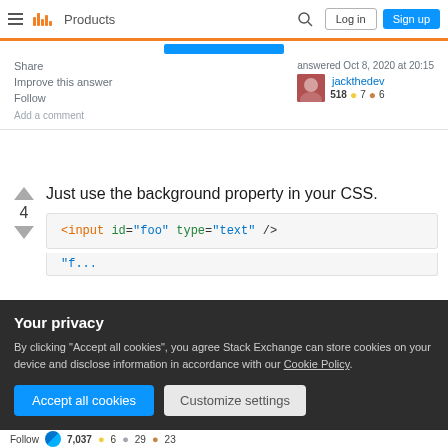≡  [Stack Overflow logo]  Products    🔍   Log in   Sign up
Share
Improve this answer
Follow
Add a comment
answered Oct 8, 2020 at 20:15
jackthedev
518 ●7 ●6
Just use the background property in your CSS.
<input id="foo" type="text" />
"f...
Your privacy
By clicking "Accept all cookies", you agree Stack Exchange can store cookies on your device and disclose information in accordance with our Cookie Policy.
Accept all cookies    Customize settings
Follow    7,037 ●6 ●29 ●23